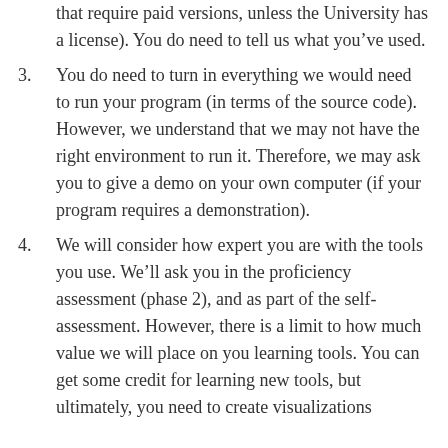that require paid versions, unless the University has a license). You do need to tell us what you've used.
3. You do need to turn in everything we would need to run your program (in terms of the source code). However, we understand that we may not have the right environment to run it. Therefore, we may ask you to give a demo on your own computer (if your program requires a demonstration).
4. We will consider how expert you are with the tools you use. We'll ask you in the proficiency assessment (phase 2), and as part of the self-assessment. However, there is a limit to how much value we will place on you learning tools. You can get some credit for learning new tools, but ultimately, you need to create visualizations